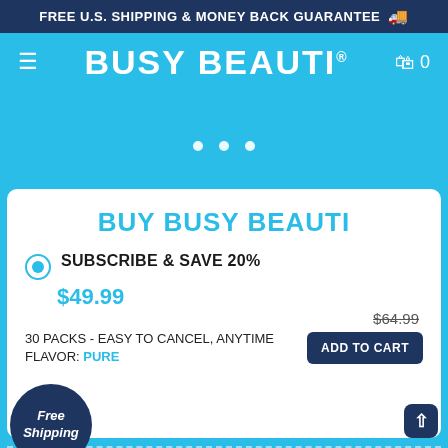FREE U.S. SHIPPING & MONEY BACK GUARANTEE 🚚
[Figure (logo): Busy Beauti brand logo with hamburger menu icon and cart icon showing 0 items]
[Figure (infographic): Free Shipping circular badge in dark navy blue with italic text 'Free Shipping']
BUY BUSY BEAUTI
SUBSCRIBE & SAVE 20%
$49.99
$64.99
30 PACKS - EASY TO CANCEL, ANYTIME
FLAVOR: PURE